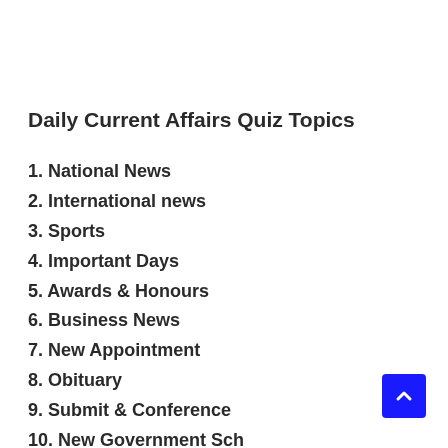Daily Current Affairs Quiz Topics
1. National News
2. International news
3. Sports
4. Important Days
5. Awards & Honours
6. Business News
7. New Appointment
8. Obituary
9. Submit & Conference
10. New Government Sch…